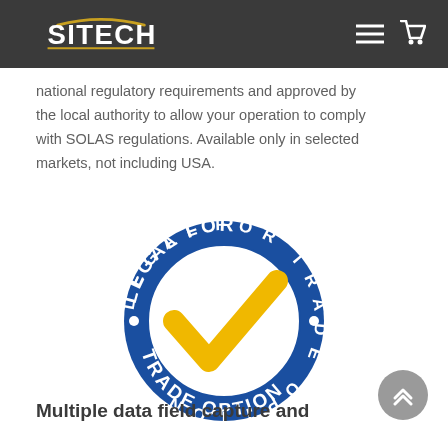SITECH
national regulatory requirements and approved by the local authority to allow your operation to comply with SOLAS regulations. Available only in selected markets, not including USA.
[Figure (logo): Legal For Trade Option badge: blue circle with text 'LEGAL FOR TRADE OPTION' and a large yellow checkmark in the center]
Multiple data field capture and